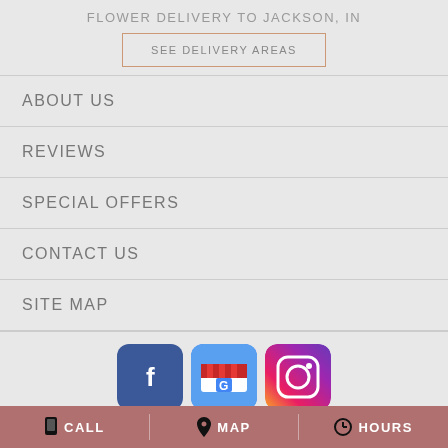FLOWER DELIVERY TO JACKSON, IN
SEE DELIVERY AREAS
ABOUT US
REVIEWS
SPECIAL OFFERS
CONTACT US
SITE MAP
[Figure (logo): Facebook, Google My Business, and Instagram social media icons]
CALL   MAP   HOURS